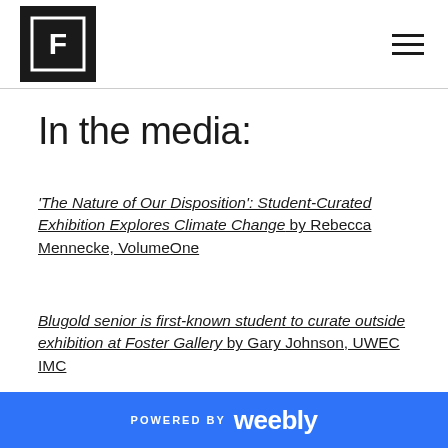[Logo: Foster Gallery] [Hamburger menu icon]
In the media:
'The Nature of Our Disposition': Student-Curated Exhibition Explores Climate Change by Rebecca Mennecke, VolumeOne
Blugold senior is first-known student to curate outside exhibition at Foster Gallery by Gary Johnson, UWEC IMC
POWERED BY weebly